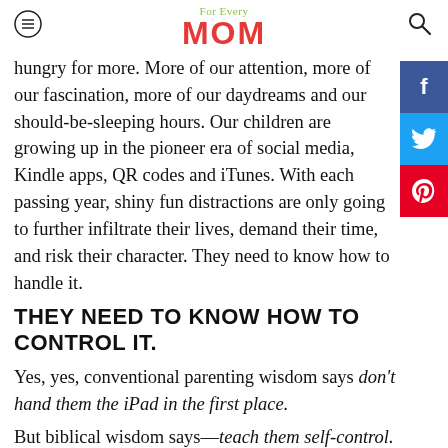For Every MOM
hungry for more. More of our attention, more of our fascination, more of our daydreams and our should-be-sleeping hours. Our children are growing up in the pioneer era of social media, Kindle apps, QR codes and iTunes. With each passing year, shiny fun distractions are only going to further infiltrate their lives, demand their time, and risk their character. They need to know how to handle it.
THEY NEED TO KNOW HOW TO CONTROL IT.
Yes, yes, conventional parenting wisdom says don't hand them the iPad in the first place.
But biblical wisdom says—teach them self-control.